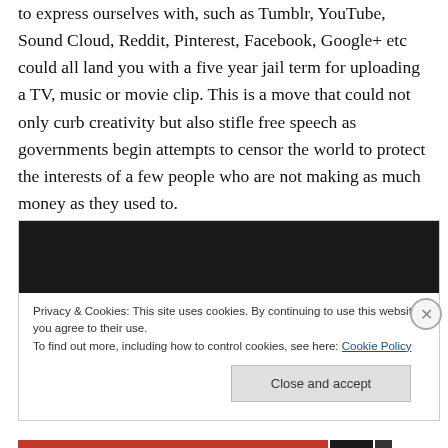to express ourselves with, such as Tumblr, YouTube, Sound Cloud, Reddit, Pinterest, Facebook, Google+ etc could all land you with a five year jail term for uploading a TV, music or movie clip. This is a move that could not only curb creativity but also stifle free speech as governments begin attempts to censor the world to protect the interests of a few people who are not making as much money as they used to.
[Figure (screenshot): Dark/black rectangular bar, likely a video player or embedded media widget]
Privacy & Cookies: This site uses cookies. By continuing to use this website, you agree to their use.
To find out more, including how to control cookies, see here: Cookie Policy
Close and accept